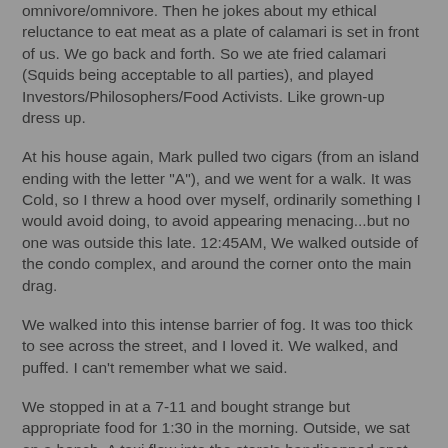omnivore/omnivore. Then he jokes about my ethical reluctance to eat meat as a plate of calamari is set in front of us. We go back and forth. So we ate fried calamari (Squids being acceptable to all parties), and played Investors/Philosophers/Food Activists. Like grown-up dress up.
At his house again, Mark pulled two cigars (from an island ending with the letter "A"), and we went for a walk. It was Cold, so I threw a hood over myself, ordinarily something I would avoid doing, to avoid appearing menacing...but no one was outside this late. 12:45AM, We walked outside of the condo complex, and around the corner onto the main drag.
We walked into this intense barrier of fog. It was too thick to see across the street, and I loved it. We walked, and puffed. I can't remember what we said.
We stopped in at a 7-11 and bought strange but appropriate food for 1:30 in the morning. Outside, we sat on a bench. A taxi flew into the store's handicapped spot and a guy in a Ralph Lauren sweatsuit tore inside yelling at a cell phone on speakerphone that he held in front of his face. Two Jerkys...